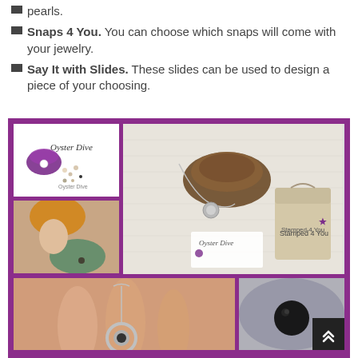pearls.
Snaps 4 You. You can choose which snaps will come with your jewelry.
Say It with Slides. These slides can be used to design a piece of your choosing.
[Figure (photo): Collage of Oyster Dive jewelry product photos showing logo, mermaid figurine, oyster with pearl necklace, Stamped 4 You bag, and close-up of pearl pendant.]